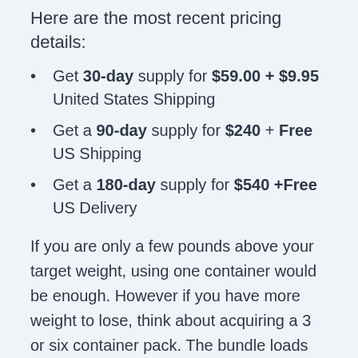Here are the most recent pricing details:
Get 30-day supply for $59.00 + $9.95 United States Shipping
Get a 90-day supply for $240 + Free US Shipping
Get a 180-day supply for $540 +Free US Delivery
If you are only a few pounds above your target weight, using one container would be enough. However if you have more weight to lose, think about acquiring a 3 or six container pack. The bundle loads conserve you from the efforts of acquiring one bottle every month. As the company has no membership offer and also the item is always readily available in minimal supply, a